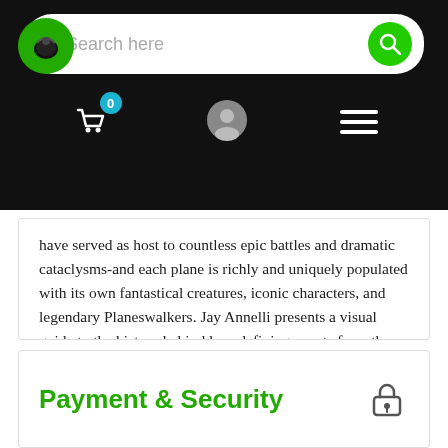[Figure (screenshot): Website navigation bar with search field, cart icon with badge 0, user profile icon, and hamburger menu on dark background]
have served as host to countless epic battles and dramatic cataclysms-and each plane is richly and uniquely populated with its own fantastical creatures, iconic characters, and legendary Planeswalkers. Jay Annelli presents a visual guide to the history behind lore-defining events from the Phyrexian Invasion to the War of the Spark, as well as character profiles for Karn, Narset, Vraska, Sorin Markov, and other fan-favorite Planeswalkers. This collection offers exclusive insight into the art and mythology of some of Magic: The Gathering's most popular and enduring locales-and the characters that inhabit them.
Payment & Security